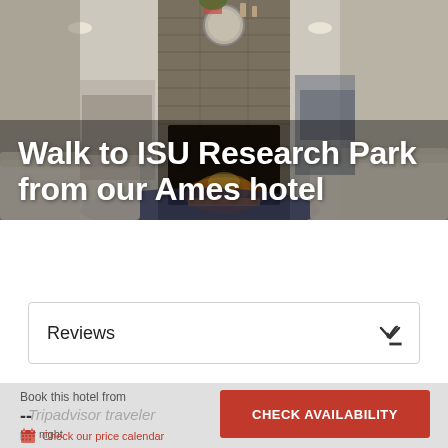[Figure (photo): Hotel lobby interior with stone fireplace, lounge seating, and dining area in background. Warm neutral tones with blue area rug.]
Walk to ISU Research Park from our Ames hotel
Reviews
Book this hotel from
--
per night
Check our price calendar
CHECK AVAILABILITY